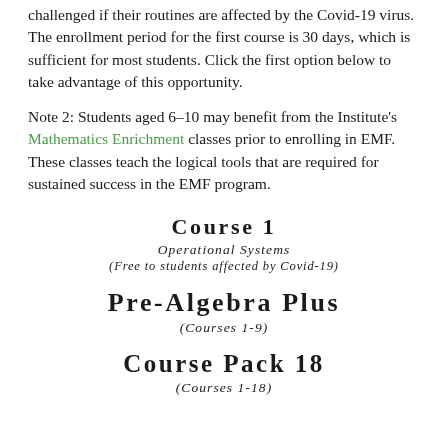challenged if their routines are affected by the Covid-19 virus. The enrollment period for the first course is 30 days, which is sufficient for most students. Click the first option below to take advantage of this opportunity.
Note 2: Students aged 6–10 may benefit from the Institute's Mathematics Enrichment classes prior to enrolling in EMF. These classes teach the logical tools that are required for sustained success in the EMF program.
Course 1
Operational Systems
(Free to students affected by Covid-19)
Pre-Algebra Plus
(Courses 1-9)
Course Pack 18
(Courses 1-18)